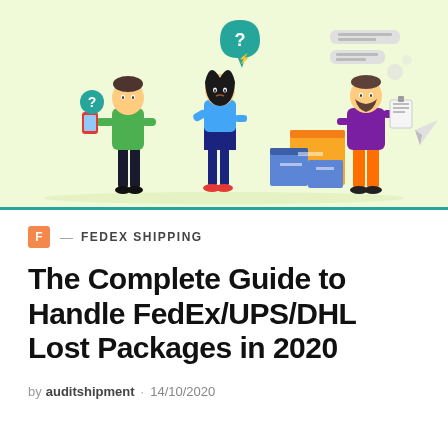[Figure (illustration): A colorful flat-style illustration on a light green background. Left: a man in a green sweater holding a phone with a question mark bubble. Center: a woman in a blue top and dark skirt, holding her head in confusion, with a question mark speech bubble above. Right: a man with a beard in a purple hoodie and orange pants holding a clipboard, standing next to stacked shipping boxes (blue and tan). Speech bubbles float in the upper right. A teal horizontal line runs along the bottom.]
F — FEDEX SHIPPING
The Complete Guide to Handle FedEx/UPS/DHL Lost Packages in 2020
by auditshipment · 14/10/2020